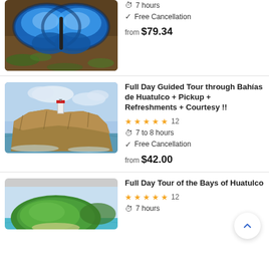[Figure (photo): Blue morpho butterfly resting on ground with leaves]
7 hours
Free Cancellation
from $79.34
[Figure (photo): Rocky coastal cliff with lighthouse on top, ocean waves below]
Full Day Guided Tour through Bahías de Huatulco + Pickup + Refreshments + Courtesy !!
12
7 to 8 hours
Free Cancellation
from $42.00
[Figure (photo): Green island with beach and turquoise water, boats visible]
Full Day Tour of the Bays of Huatulco
12
7 hours